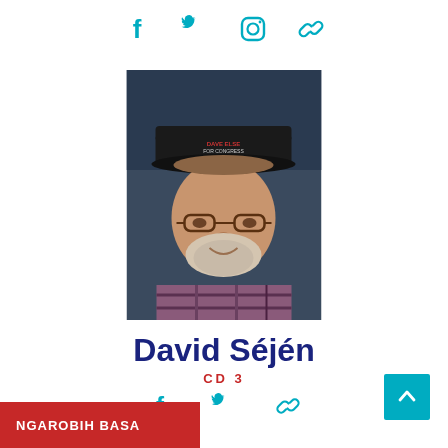[Figure (illustration): Social media icons row at top: Facebook, Twitter, Instagram, chain/link icons in teal color]
[Figure (photo): Portrait photo of David Séjén, an older man with glasses, a gray beard, wearing a plaid shirt and a dark baseball cap with 'Dave Else for Congress' text]
David Séjén
CD 3
[Figure (illustration): Social media icons row at bottom: Facebook, Twitter, chain/link icons in teal color]
NGAROBIH BASA